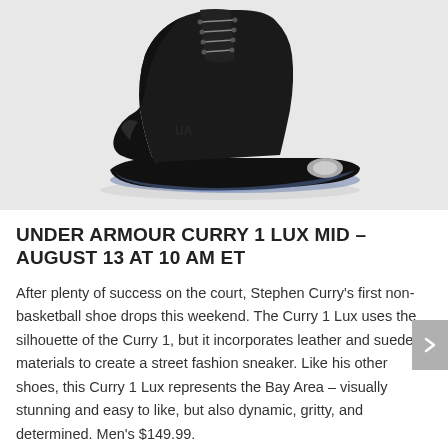[Figure (photo): Black Under Armour Curry 1 Lux Mid high-top sneaker on a light gray background, shown from a side angle. The shoe is black suede/leather with a translucent blue sole and silver metallic heel accent.]
UNDER ARMOUR CURRY 1 LUX MID – AUGUST 13 AT 10 AM ET
After plenty of success on the court, Stephen Curry's first non-basketball shoe drops this weekend. The Curry 1 Lux uses the silhouette of the Curry 1, but it incorporates leather and suede materials to create a street fashion sneaker. Like his other shoes, this Curry 1 Lux represents the Bay Area – visually stunning and easy to like, but also dynamic, gritty, and determined. Men's $149.99.
[Figure (photo): Partial view of another sneaker (orange and white) on a light gray background, cropped at the bottom of the page.]